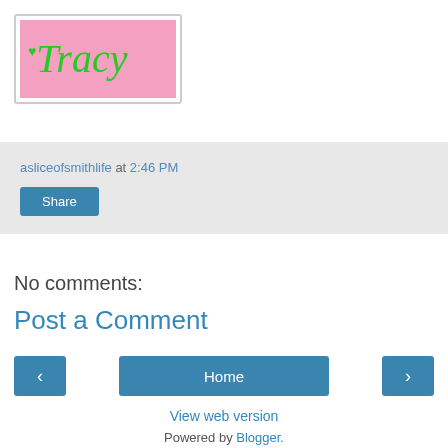[Figure (logo): Pink rectangular logo with cursive green text reading 'Tracy' with a small heart above the T]
asliceofsmithlife at 2:46 PM
Share
No comments:
Post a Comment
‹
Home
›
View web version
Powered by Blogger.